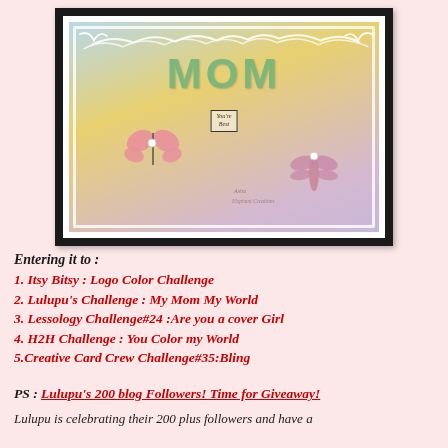[Figure (photo): A handmade greeting card with MOM letters in green, decorated with pink butterflies and a dragonfly, lace border, on a pastel watercolor background]
Entering it to :
1. Itsy Bitsy : Logo Color Challenge
2. Lulupu's Challenge : My Mom My World
3. Lessology Challenge#24 :Are you a cover Girl
4. H2H Challenge : You Color my World
5.Creative Card Crew Challenge#35:Bling
PS : Lulupu's 200 blog Followers! Time for Giveaway!
Lulupu is celebrating their 200 plus followers and have a